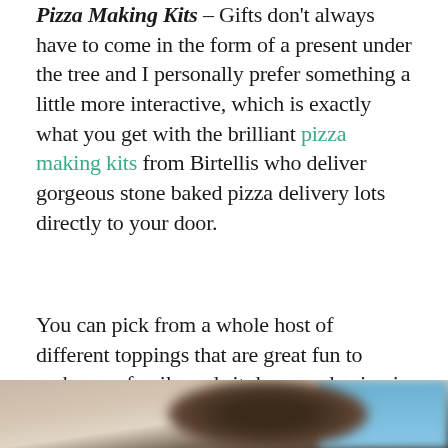Pizza Making Kits – Gifts don't always have to come in the form of a present under the tree and I personally prefer something a little more interactive, which is exactly what you get with the brilliant pizza making kits from Birtellis who deliver gorgeous stone baked pizza delivery lots directly to your door.
You can pick from a whole host of different toppings that are great fun to make as a family and sit down and enjoy in front of a movie or two!
[Figure (photo): Blurred photo showing a person (partial head/hair visible) against a light background with blue element on the right side]